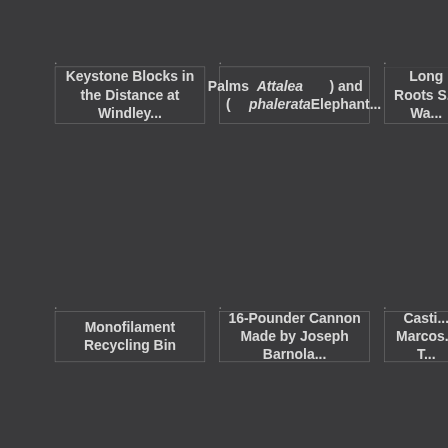Keystone Blocks in the Distance at Windley...
Palms (Attalea phalerata) and Elephant...
Long Roots S... Wa...
Monofilament Recycling Bin
16-Pounder Cannon Made by Joseph Barnola...
Casti... Marcos... T...